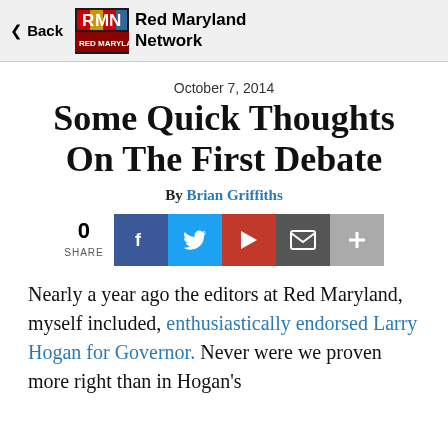Back | RMN Red Maryland Network
October 7, 2014
Some Quick Thoughts On The First Debate
By Brian Griffiths
[Figure (infographic): Social share buttons: 0 shares, Facebook, Twitter, Flipboard, Email, More]
Nearly a year ago the editors at Red Maryland, myself included, enthusiastically endorsed Larry Hogan for Governor. Never were we proven more right than in Hogan's